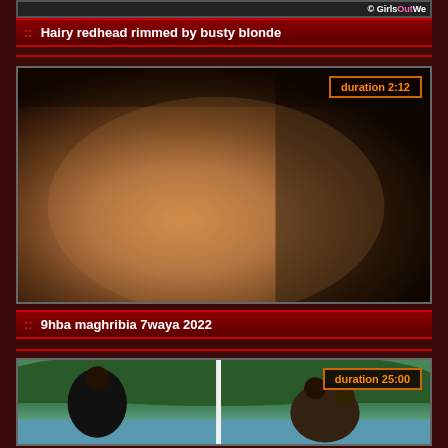[Figure (screenshot): Partial top thumbnail with watermark logo GirlsOutWe]
Hairy redhead rimmed by busty blonde
[Figure (screenshot): Video thumbnail showing person, duration badge 2:12]
9hba maghribia 7waya 2022
[Figure (screenshot): Video thumbnail showing outdoor scene, duration badge 25:00]